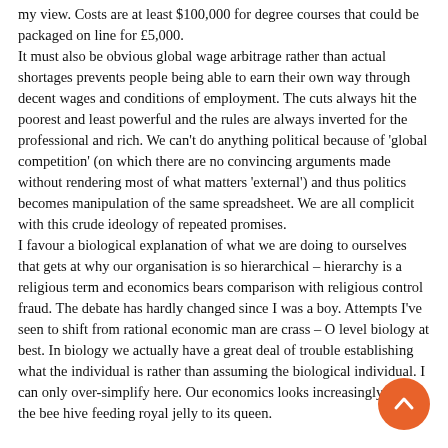my view. Costs are at least $100,000 for degree courses that could be packaged on line for £5,000. It must also be obvious global wage arbitrage rather than actual shortages prevents people being able to earn their own way through decent wages and conditions of employment. The cuts always hit the poorest and least powerful and the rules are always inverted for the professional and rich. We can't do anything political because of 'global competition' (on which there are no convincing arguments made without rendering most of what matters 'external') and thus politics becomes manipulation of the same spreadsheet. We are all complicit with this crude ideology of repeated promises. I favour a biological explanation of what we are doing to ourselves that gets at why our organisation is so hierarchical – hierarchy is a religious term and economics bears comparison with religious control fraud. The debate has hardly changed since I was a boy. Attempts I've seen to shift from rational economic man are crass – O level biology at best. In biology we actually have a great deal of trouble establishing what the individual is rather than assuming the biological individual. I can only over-simplify here. Our economics looks increasingly like the bee hive feeding royal jelly to its queen.